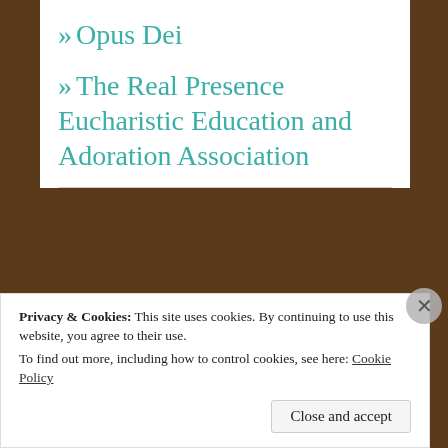» Opus Dei
» The Real Presence Eucharistic Education and Adoration Association
Advertisements
Privacy & Cookies: This site uses cookies. By continuing to use this website, you agree to their use.
To find out more, including how to control cookies, see here: Cookie Policy
Close and accept